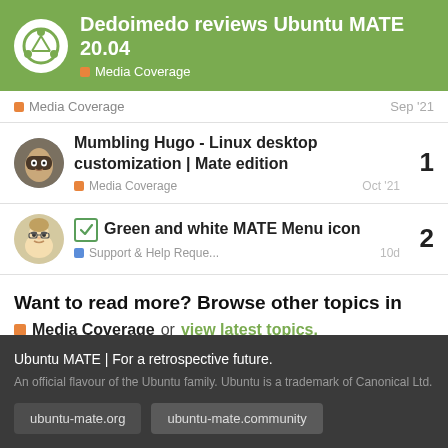Dedoimedo reviews Ubuntu MATE 20.04 | Media Coverage
Media Coverage  Sep '21
Mumbling Hugo - Linux desktop customization | Mate edition
Media Coverage  Oct '21  1
Green and white MATE Menu icon
Support & Help Reque...  10d  2
Want to read more? Browse other topics in
Media Coverage or view latest topics.
Ubuntu MATE | For a retrospective future.
An official flavour of the Ubuntu family. Ubuntu is a trademark of Canonical Ltd.
ubuntu-mate.org  ubuntu-mate.community